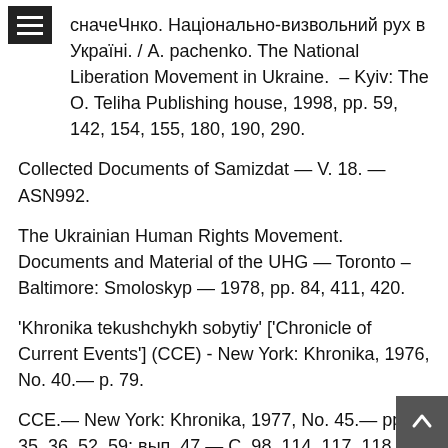сначеЧнко. Національно-визвольний рух в Україні. / А. pachenko. The National Liberation Movement in Ukraine. – Kyiv: The O. Teliha Publishing house, 1998, pp. 59, 142, 154, 155, 180, 190, 290.
Collected Documents of Samizdat — V. 18. — ASN992.
The Ukrainian Human Rights Movement. Documents and Material of the UHG — Toronto – Baltimore: Smoloskyp — 1978, pp. 84, 411, 420.
'Khronika tekushchykh sobytiy' ['Chronicle of Current Events'] (CCE) - New York: Khronika, 1976, No. 40.— p. 79.
CCE.— New York: Khronika, 1977, No. 45.— pp. 35, 36, 52, 59; вып. 47.— С. 98, 114, 117, 118.
CCE.— New York: Khronika, 1978, No. 48.— pp. 52, 54, 68, 71, 72.
CCE.— New York: Khronika, 1979, No. 51.— p. 85; No. 52. — pp. 32, 50, 53.
Vesti iz SSSR [News from the USSR] . V. 2. 1982-1984.